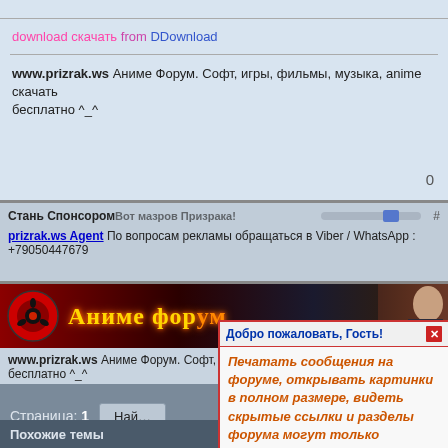download скачать from DDownload
www.prizrak.ws Аниме Форум. Софт, игры, фильмы, музыка, anime скачать бесплатно ^_^
0
Стань СпонсоромВот мазров Призрака! По вопросам рекламы обращаться в Viber / WhatsApp : +79050447679
prizrak.ws Agent
[Figure (screenshot): Anime forum banner with sharingan logo and Japanese-style title text 'Аниме форум']
www.prizrak.ws Аниме Форум. Софт, игры, фильмы, музыка, anime скачать бесплатно ^_^
Добро пожаловать, Гость! Печатать сообщения на форуме, открывать картинки в полном размере, видеть скрытые ссылки и разделы форума могут только зарегистрированные пользователи!
Тут может быть и твой баннер!
Страница: 1
Похожие темы